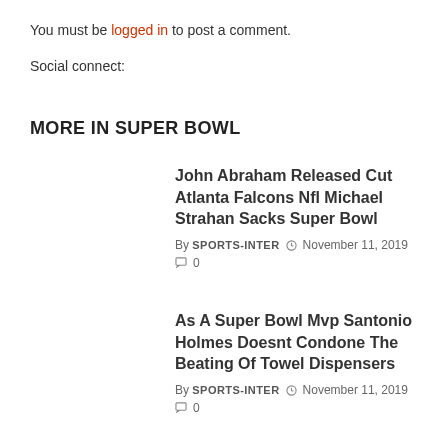You must be logged in to post a comment.
Social connect:
MORE IN SUPER BOWL
John Abraham Released Cut Atlanta Falcons Nfl Michael Strahan Sacks Super Bowl
By SPORTS-INTER  November 11, 2019  0
As A Super Bowl Mvp Santonio Holmes Doesnt Condone The Beating Of Towel Dispensers
By SPORTS-INTER  November 11, 2019  0